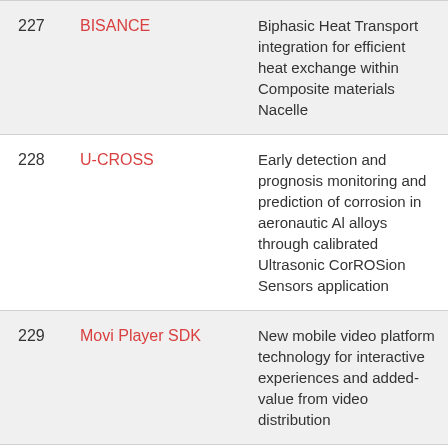| # | Name | Description |
| --- | --- | --- |
| 227 | BISANCE | Biphasic Heat Transport integration for efficient heat exchange within Composite materials Nacelle |
| 228 | U-CROSS | Early detection and prognosis monitoring and prediction of corrosion in aeronautic Al alloys through calibrated Ultrasonic CorROSion Sensors application |
| 229 | Movi Player SDK | New mobile video platform technology for interactive experiences and added-value from video distribution |
| 230 | ThermoTON | Thermophone - a novel heat transfer based approach for global TOnal Noise cancellation in aviation |